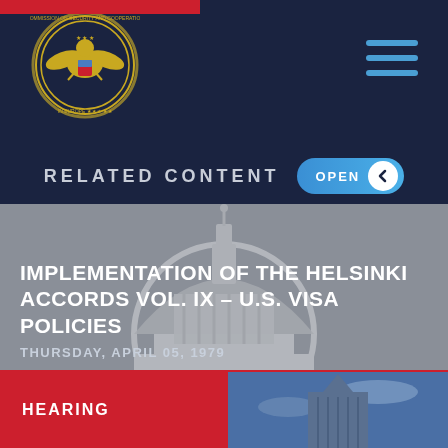[Figure (logo): Commission on Security and Cooperation in Europe seal/logo with eagle]
RELATED CONTENT
IMPLEMENTATION OF THE HELSINKI ACCORDS VOL. IX – U.S. VISA POLICIES
THURSDAY, APRIL 05, 1979
HEARING
[Figure (photo): Capitol building dome photo with blue sky background]